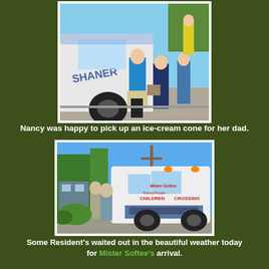[Figure (photo): Photo of people standing next to an ice cream truck (Shaner's), a woman in blue top is at the window ordering]
Nancy was happy to pick up an ice-cream cone for her dad.
[Figure (photo): Photo of Mister Softee ice cream truck parked outside with two residents waiting on the sidewalk in sunny weather]
Some Resident's waited out in the beautiful weather today for Mister Softee's arrival.